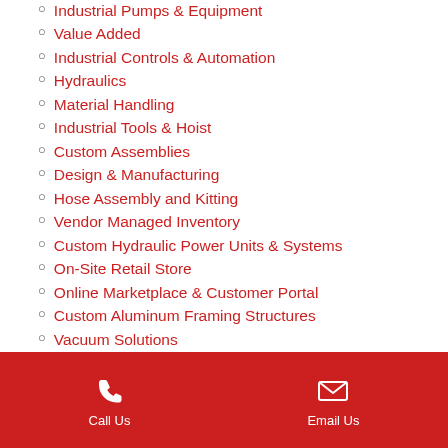Industrial Pumps & Equipment
Value Added
Industrial Controls & Automation
Hydraulics
Material Handling
Industrial Tools & Hoist
Custom Assemblies
Design & Manufacturing
Hose Assembly and Kitting
Vendor Managed Inventory
Custom Hydraulic Power Units & Systems
On-Site Retail Store
Online Marketplace & Customer Portal
Custom Aluminum Framing Structures
Vacuum Solutions
Training and Resources
Call Us   Email Us